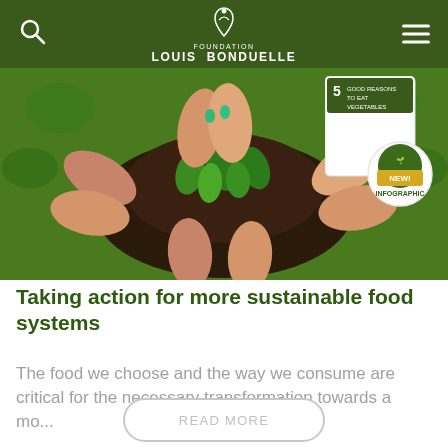FOUNDATION LOUIS BONDUELLE
[Figure (photo): Multiple hands holding soil with green seedlings arranged in a circular pattern, viewed from above. An infographic badge overlay in top right shows 'NEW! INFOGRAPHIC' with a green circular icon.]
Taking action for more sustainable food systems
The food we choose and the way we consume are critical for the necessary transformation towards a mo...
READ MORE